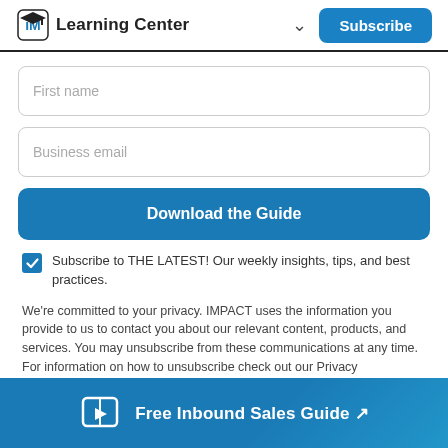IM Learning Center — Subscribe
First name
Business email
Download the Guide
Subscribe to THE LATEST! Our weekly insights, tips, and best practices.
We're committed to your privacy. IMPACT uses the information you provide to us to contact you about our relevant content, products, and services. You may unsubscribe from these communications at any time. For information on how to unsubscribe check out our Privacy
Free Inbound Sales Guide ↗